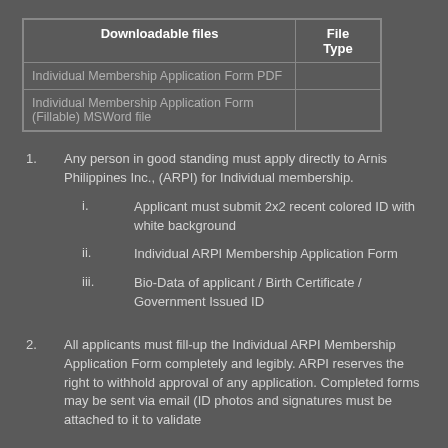| Downloadable files | File Type |
| --- | --- |
| Individual Membership Application Form PDF |  |
| Individual Membership Application Form (Fillable) MSWord file |  |
1.     Any person in good standing must apply directly to Arnis Philippines Inc., (ARPI) for Individual membership.
i.          Applicant must submit 2x2 recent colored ID with white background
ii.          Individual ARPI Membership Application Form
iii.         Bio-Data of applicant / Birth Certificate / Government Issued ID
2.     All applicants must fill-up the Individual ARPI Membership Application Form completely and legibly. ARPI reserves the right to withhold approval of any application. Completed forms may be sent via email (ID photos and signatures must be attached to it to validate